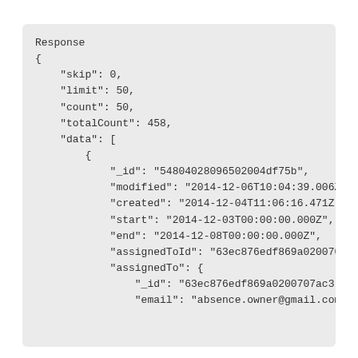Response
{
    "skip": 0,
    "limit": 50,
    "count": 50,
    "totalCount": 458,
    "data": [
        {
            "_id": "54804028096502004df75b",
            "modified": "2014-12-06T10:04:39.006Z
            "created": "2014-12-04T11:06:16.471Z"
            "start": "2014-12-03T00:00:00.000Z",
            "end": "2014-12-08T00:00:00.000Z",
            "assignedToId": "63ec876edf869a020070
            "assignedTo": {
                "_id": "63ec876edf869a0200707ac3",
                "email": "absence.owner@gmail.com",